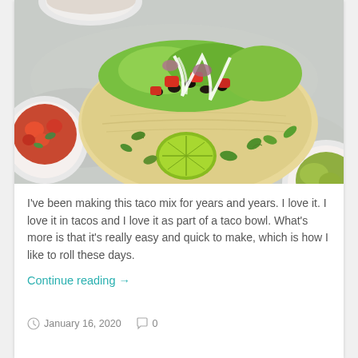[Figure (photo): Overhead photo of a taco with colorful fillings including lettuce, tomatoes, black beans, and sour cream drizzle, on a grey stone background with a halved lime, a bowl of salsa, and a bowl of guacamole]
I've been making this taco mix for years and years. I love it. I love it in tacos and I love it as part of a taco bowl. What's more is that it's really easy and quick to make, which is how I like to roll these days.
Continue reading →
January 16, 2020   0